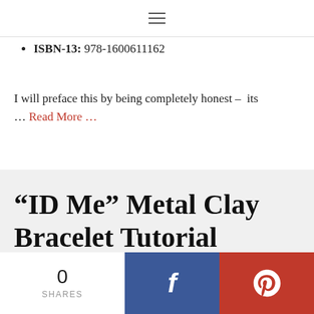≡ (navigation menu icon)
ISBN-13: 978-1600611162
I will preface this by being completely honest –  its … Read More …
“ID Me” Metal Clay Bracelet Tutorial
August 14, 2008 by Barbe Saint John
[Figure (photo): Partial image of a metal clay bracelet, blue-grey metallic surface]
0 SHARES  [Facebook share button]  [Pinterest share button]